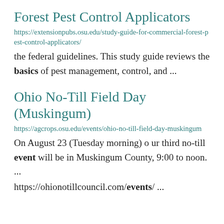Forest Pest Control Applicators
https://extensionpubs.osu.edu/study-guide-for-commercial-forest-pest-control-applicators/
the federal guidelines. This study guide reviews the basics of pest management, control, and ...
Ohio No-Till Field Day (Muskingum)
https://agcrops.osu.edu/events/ohio-no-till-field-day-muskingum
On August 23 (Tuesday morning) o ur third no-till event will be in Muskingum County, 9:00 to noon. ...
https://ohionotillcouncil.com/events/ ...